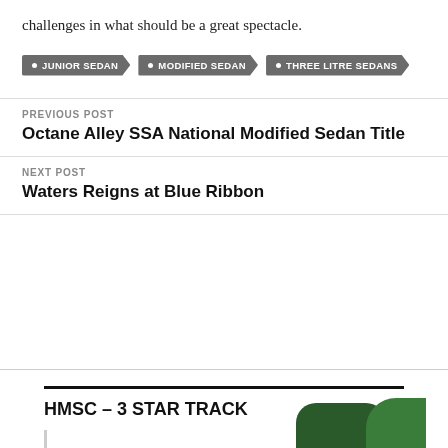challenges in what should be a great spectacle.
JUNIOR SEDAN
MODIFIED SEDAN
THREE LITRE SEDANS
PREVIOUS POST
Octane Alley SSA National Modified Sedan Title
NEXT POST
Waters Reigns at Blue Ribbon
HMSC – 3 STAR TRACK